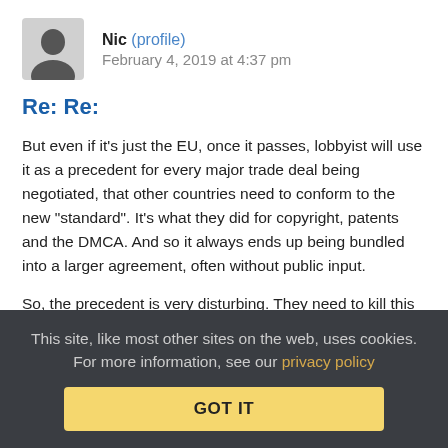Nic (profile)   February 4, 2019 at 4:37 pm
Re: Re:
But even if it's just the EU, once it passes, lobbyist will use it as a precedent for every major trade deal being negotiated, that other countries need to conform to the new "standard". It's what they did for copyright, patents and the DMCA. And so it always ends up being bundled into a larger agreement, often without public input.
So, the precedent is very disturbing. They need to kill this right now or 10 years from now, we'll nearly all be stuck with versions of this directive.
This site, like most other sites on the web, uses cookies. For more information, see our privacy policy  GOT IT